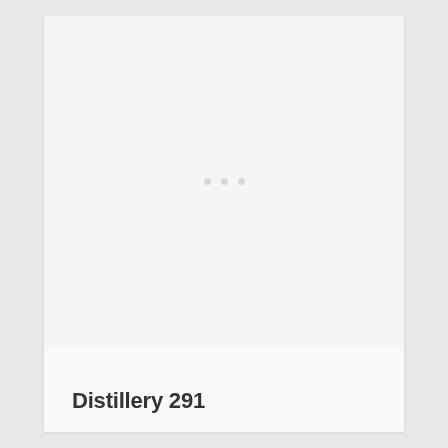[Figure (photo): Large light gray image placeholder area with three small dots in the center indicating a loading or empty image state]
Distillery 291